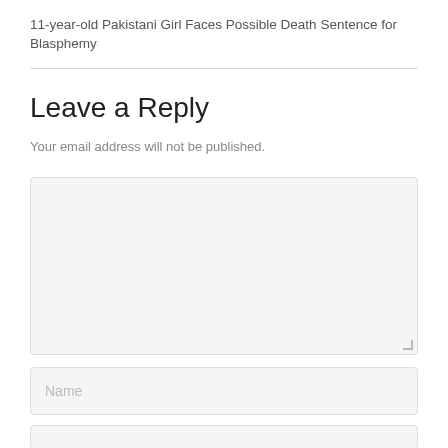11-year-old Pakistani Girl Faces Possible Death Sentence for Blasphemy
Leave a Reply
Your email address will not be published.
[Figure (other): Comment text area input field (empty, light gray background)]
[Figure (other): Name input field with placeholder text 'Name']
[Figure (other): Partial input field at bottom of page (cropped)]